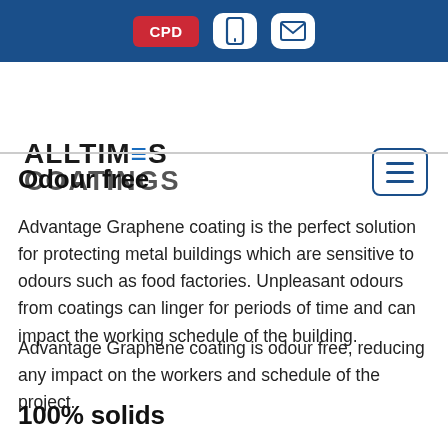CPD [mobile icon] [email icon]
[Figure (logo): Alltimes Coatings logo with blue accent on the 'E' in ALLTIMES and grey COATINGS text, accompanied by a hamburger menu button on the right]
Odour free
Advantage Graphene coating is the perfect solution for protecting metal buildings which are sensitive to odours such as food factories. Unpleasant odours from coatings can linger for periods of time and can impact the working schedule of the building.
Advantage Graphene coating is odour free, reducing any impact on the workers and schedule of the project.
100% solids